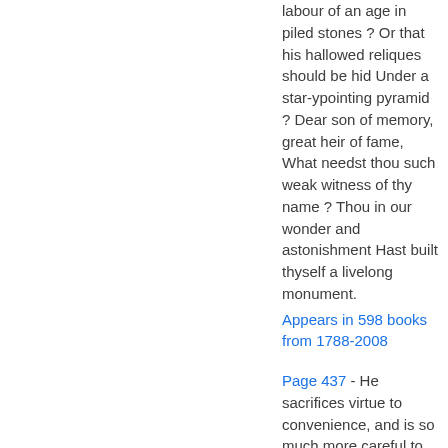labour of an age in piled stones ? Or that his hallowed reliques should be hid Under a star-ypointing pyramid ? Dear son of memory, great heir of fame, What needst thou such weak witness of thy name ? Thou in our wonder and astonishment Hast built thyself a livelong monument.
Appears in 598 books from 1788-2008
Page 437 - He sacrifices virtue to convenience, and is so much more careful to please than to instruct, that he seems to write without any moral purpose.
Appears in 397 books...